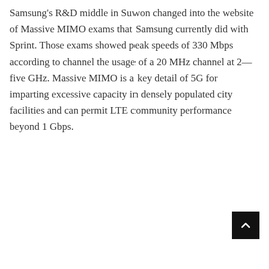Samsung's R&D middle in Suwon changed into the website of Massive MIMO exams that Samsung currently did with Sprint. Those exams showed peak speeds of 330 Mbps according to channel the usage of a 20 MHz channel at 2—five GHz. Massive MIMO is a key detail of 5G for imparting excessive capacity in densely populated city facilities and can permit LTE community performance beyond 1 Gbps.
[Figure (other): Black square button with upward-pointing caret arrow, used as a scroll-to-top button]